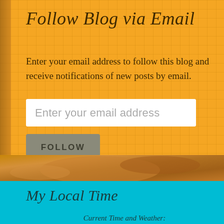Follow Blog via Email
Enter your email address to follow this blog and receive notifications of new posts by email.
Enter your email address
FOLLOW
[Figure (photo): Brown food photo strip background]
My Local Time
Current Time and Weather: